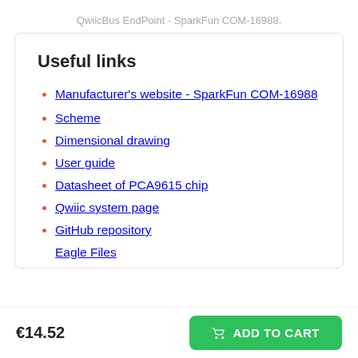QwiicBus EndPoint - SparkFun COM-16988.
Useful links
Manufacturer's website - SparkFun COM-16988
Scheme
Dimensional drawing
User guide
Datasheet of PCA9615 chip
Qwiic system page
GitHub repository
Eagle Files
€14.52
ADD TO CART